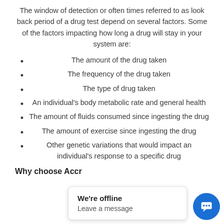The window of detection or often times referred to as look back period of a drug test depend on several factors. Some of the factors impacting how long a drug will stay in your system are:
The amount of the drug taken
The frequency of the drug taken
The type of drug taken
An individual's body metabolic rate and general health
The amount of fluids consumed since ingesting the drug
The amount of exercise since ingesting the drug
Other genetic variations that would impact an individual's response to a specific drug
Why choose Accr… po…